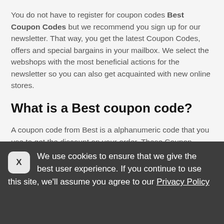You do not have to register for coupon codes Best Coupon Codes but we recommend you sign up for our newsletter. That way, you get the latest Coupon Codes, offers and special bargains in your mailbox. We select the webshops with the most beneficial actions for the newsletter so you can also get acquainted with new online stores.
What is a Best coupon code?
A coupon code from Best is a alphanumeric code that you use to get the discount on your order. These Coupon Codes are also called coupon code, promotional code, discount code, promo code or voucher. Webshops from around the
We use cookies to ensure that we give the best user experience. If you continue to use this site, we'll assume you agree to our Privacy Policy